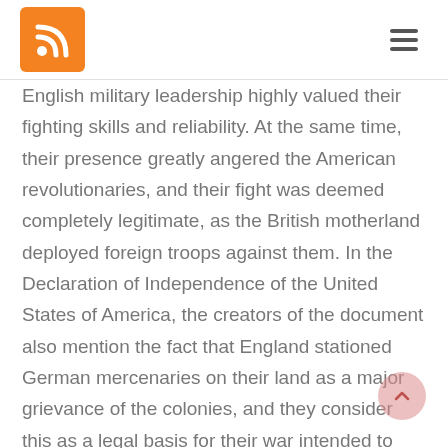[RSS icon and hamburger menu]
English military leadership highly valued their fighting skills and reliability. At the same time, their presence greatly angered the American revolutionaries, and their fight was deemed completely legitimate, as the British motherland deployed foreign troops against them. In the Declaration of Independence of the United States of America, the creators of the document also mention the fact that England stationed German mercenaries on their land as a major grievance of the colonies, and they consider this as a legal basis for their war intended to achieve their independence.